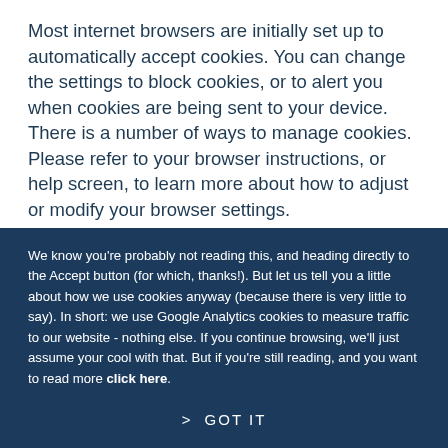Most internet browsers are initially set up to automatically accept cookies. You can change the settings to block cookies, or to alert you when cookies are being sent to your device. There is a number of ways to manage cookies. Please refer to your browser instructions, or help screen, to learn more about how to adjust or modify your browser settings.
We know you're probably not reading this, and heading directly to the Accept button (for which, thanks!). But let us tell you a little about how we use cookies anyway (because there is very little to say). In short: we use Google Analytics cookies to measure traffic to our website - nothing else. If you continue browsing, we'll just assume your cool with that. But if you're still reading, and you want to read more click here.
> GOT IT